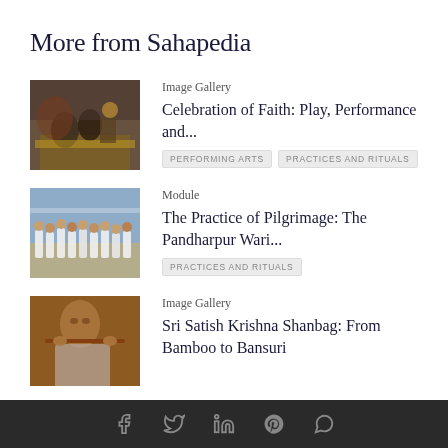More from Sahapedia
Image Gallery
Celebration of Faith: Play, Performance and...
PERFORMING ARTS
PRACTICES AND RITUALS
[Figure (photo): People gathered at a religious ceremony with flower garlands and drums]
Module
The Practice of Pilgrimage: The Pandharpur Wari...
PRACTICES AND RITUALS
[Figure (photo): Group of people in white clothes walking in procession outdoors]
Image Gallery
Sri Satish Krishna Shanbag: From Bamboo to Bansuri
[Figure (photo): Man playing a flute instrument, close-up, warm tones]
Social media icons: Facebook, Twitter, LinkedIn, Pinterest, WhatsApp